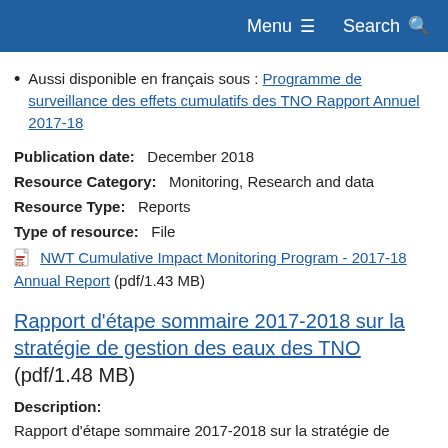Menu  Search
Aussi disponible en français sous : Programme de surveillance des effets cumulatifs des TNO Rapport Annuel 2017-18
Publication date: December 2018
Resource Category: Monitoring, Research and data
Resource Type: Reports
Type of resource: File
NWT Cumulative Impact Monitoring Program - 2017-18 Annual Report (pdf/1.43 MB)
Rapport d'étape sommaire 2017-2018 sur la stratégie de gestion des eaux des TNO (pdf/1.48 MB)
Description:
Rapport d'étape sommaire 2017-2018 sur la stratégie de gestion des eaux des TNO